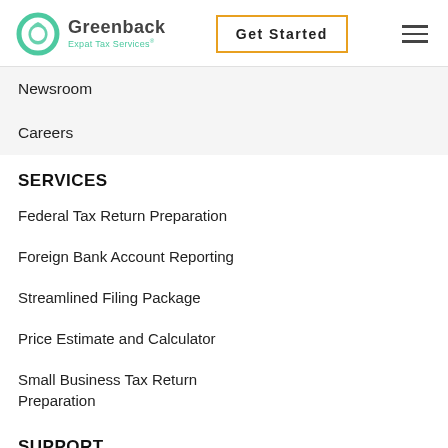Greenback Expat Tax Services — Get Started
Newsroom
Careers
SERVICES
Federal Tax Return Preparation
Foreign Bank Account Reporting
Streamlined Filing Package
Price Estimate and Calculator
Small Business Tax Return Preparation
SUPPORT
Client Login